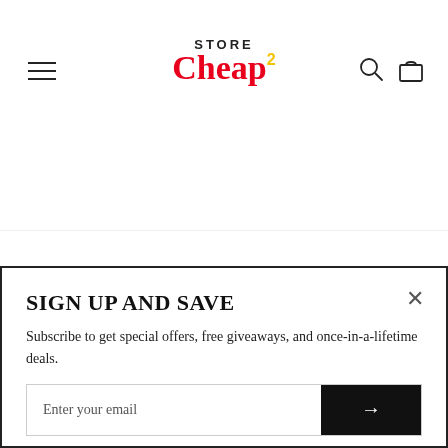[Figure (logo): StoreCheap2 logo with red lettering and yellow superscript 2]
MAIN MENU
OUR POLICIES
SIGN UP AND SAVE
Subscribe to get special offers, free giveaways, and once-in-a-lifetime deals.
Enter your email
SGD
[Figure (logo): TrustedSite Certified Secure badge]